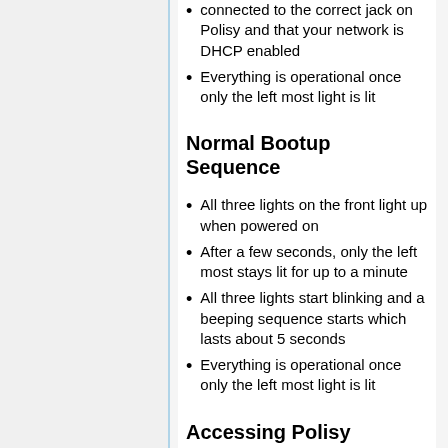connected to the correct jack on Polisy and that your network is DHCP enabled
Everything is operational once only the left most light is lit
Normal Bootup Sequence
All three lights on the front light up when powered on
After a few seconds, only the left most stays lit for up to a minute
All three lights start blinking and a beeping sequence starts which lasts about 5 seconds
Everything is operational once only the left most light is lit
Accessing Polisy
If you have a modern router, Polisy